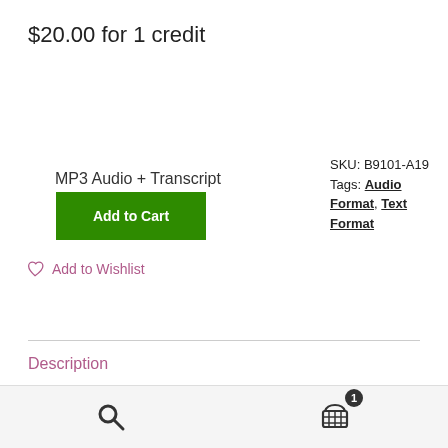$20.00 for 1 credit
Add to Cart
MP3 Audio + Transcript
SKU: B9101-A19
Tags: Audio Format, Text Format
Add to Wishlist
Description